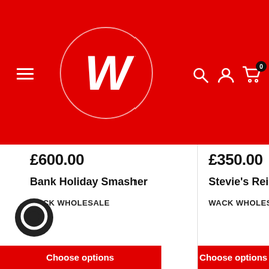[Figure (logo): Wack Wholesale logo: white W on red circle with red header background, hamburger menu, search/account/cart icons]
£600.00
Bank Holiday Smasher
WACK WHOLESALE
£350.00
Stevie's Reisser S
WACK WHOLESALE
Choose options
Choose options